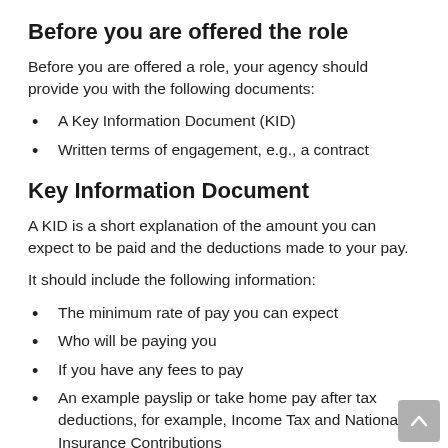Before you are offered the role
Before you are offered a role, your agency should provide you with the following documents:
A Key Information Document (KID)
Written terms of engagement, e.g., a contract
Key Information Document
A KID is a short explanation of the amount you can expect to be paid and the deductions made to your pay.
It should include the following information:
The minimum rate of pay you can expect
Who will be paying you
If you have any fees to pay
An example payslip or take home pay after tax deductions, for example, Income Tax and National Insurance Contributions